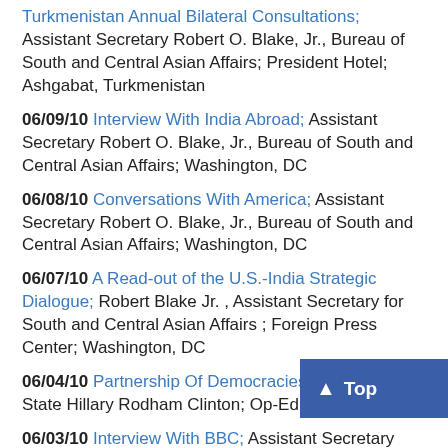Turkmenistan Annual Bilateral Consultations; Assistant Secretary Robert O. Blake, Jr., Bureau of South and Central Asian Affairs; President Hotel; Ashgabat, Turkmenistan
06/09/10 Interview With India Abroad; Assistant Secretary Robert O. Blake, Jr., Bureau of South and Central Asian Affairs; Washington, DC
06/08/10 Conversations With America; Assistant Secretary Robert O. Blake, Jr., Bureau of South and Central Asian Affairs; Washington, DC
06/07/10 A Read-out of the U.S.-India Strategic Dialogue; Robert Blake Jr. , Assistant Secretary for South and Central Asian Affairs ; Foreign Press Center; Washington, DC
06/04/10 Partnership Of Democracies; Secretary of State Hillary Rodham Clinton; Op-Ed; Times of India
06/03/10 Interview With BBC; Assistant Secretary Robert O. Blake, Jr., Bureau of South and Central Asian Affairs; Washington, DC
06/03/10 Opens the Plenary Session of the U.S.-India Strategic Dialogue With Indian External Affairs Minister S.M. Krishna; Secretary of State Hillary Rodham Clinton; Ben Franklin Room; Washington, DC